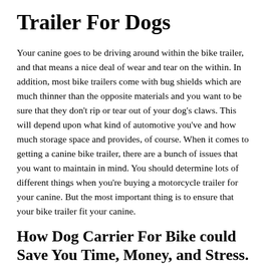Trailer For Dogs
Your canine goes to be driving around within the bike trailer, and that means a nice deal of wear and tear on the within. In addition, most bike trailers come with bug shields which are much thinner than the opposite materials and you want to be sure that they don't rip or tear out of your dog's claws. This will depend upon what kind of automotive you've and how much storage space and provides, of course. When it comes to getting a canine bike trailer, there are a bunch of issues that you want to maintain in mind. You should determine lots of different things when you're buying a motorcycle trailer for your canine. But the most important thing is to ensure that your bike trailer fit your canine.
How Dog Carrier For Bike could Save You Time, Money, and Stress.
Like reflectors, you can purchase security flags for trailers that do